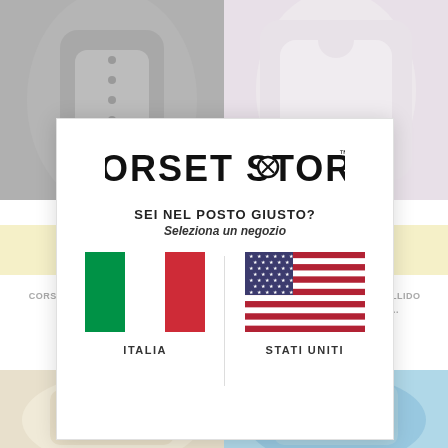[Figure (screenshot): Corset Story website screenshot showing a geo-location selector modal. Background shows product images of corsets (gray/charcoal on left, white/blush on right, beige bottom-left, light blue bottom-right). A yellow promotional banner reads 'Mix & Match Multibuy Buy 5 For 1'. The modal overlaid in center shows the Corset Story logo, Italian text 'SEI NEL POSTO GIUSTO?' and 'Seleziona un negozio', then two flag options: Italian flag labeled ITALIA and US flag labeled STATI UNITI.]
CORSET STORY™
SEI NEL POSTO GIUSTO?
Seleziona un negozio
ITALIA
STATI UNITI